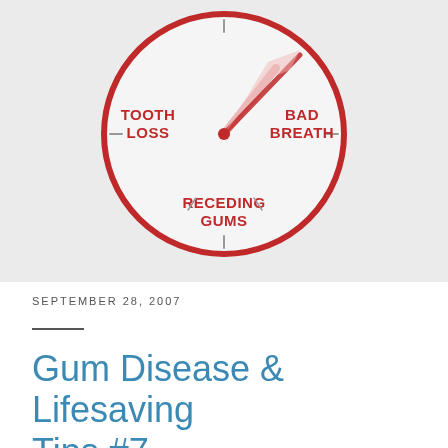[Figure (illustration): A clock-style infographic with a red circular border on a light gray background. The clock face shows three labels in bold red uppercase text: 'TOOTH LOSS' on the left, 'BAD BREATH' on the upper right, and 'RECEDING GUMS' at the bottom. Two clock hands (light pink/red) point toward the upper right area between TOOTH LOSS and BAD BREATH.]
SEPTEMBER 28, 2007
Gum Disease & Lifesaving Tips #7